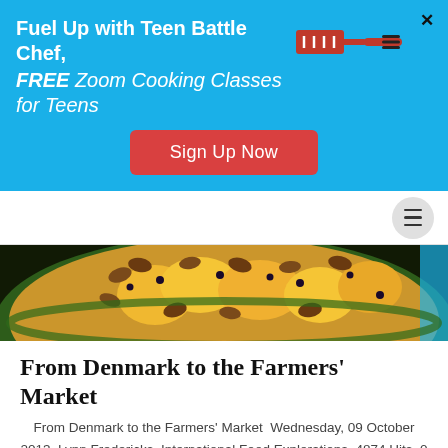Fuel Up with Teen Battle Chef, FREE Zoom Cooking Classes for Teens
Sign Up Now
[Figure (photo): A colorful plate of food with peaches, almonds, and dark berries on a decorative dish]
From Denmark to the Farmers' Market
From Denmark to the Farmers' Market  Wednesday, 09 October 2013  Lynn Fredericks  International Food Explorations  4874 Hits  0 Comments I have been so lucky as to be a part of the FamilyCook Productions team